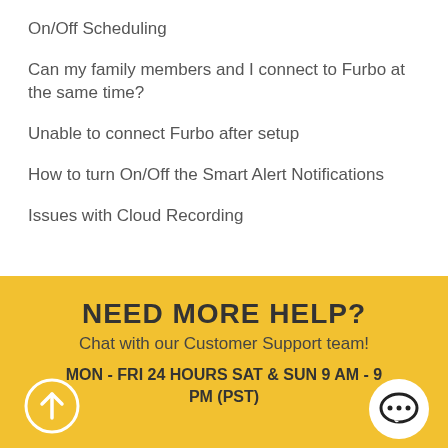On/Off Scheduling
Can my family members and I connect to Furbo at the same time?
Unable to connect Furbo after setup
How to turn On/Off the Smart Alert Notifications
Issues with Cloud Recording
NEED MORE HELP?
Chat with our Customer Support team!
MON - FRI 24 HOURS SAT & SUN 9 AM - 9 PM (PST)